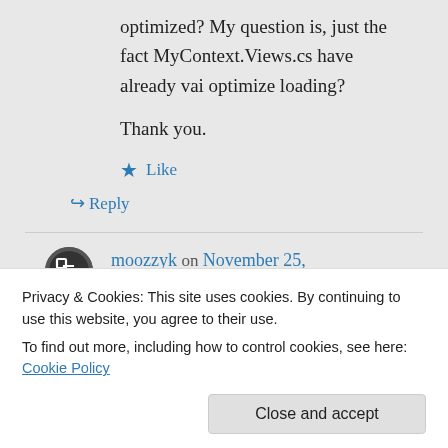optimized? My question is, just the fact MyContext.Views.cs have already vai optimize loading?

Thank you.
★ Like
↳ Reply
moozzyk on November 25, 2013 at 1:20 pm
Privacy & Cookies: This site uses cookies. By continuing to use this website, you agree to their use.
To find out more, including how to control cookies, see here: Cookie Policy
Close and accept